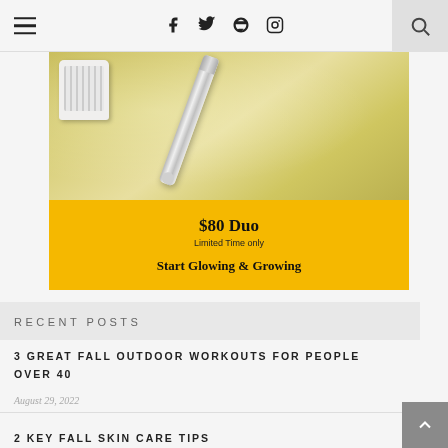≡ f t pinterest instagram 🔍
[Figure (photo): Beauty product photo showing a toothbrush and a silver pen/serum tube on a golden glittery background, with a yellow promotional band reading '$80 Duo Limited Time only' and 'Start Glowing & Growing']
RECENT POSTS
3 GREAT FALL OUTDOOR WORKOUTS FOR PEOPLE OVER 40
August 29, 2022
2 KEY FALL SKIN CARE TIPS